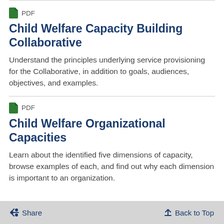[Figure (illustration): Green PDF file icon]
Child Welfare Capacity Building Collaborative
Understand the principles underlying service provisioning for the Collaborative, in addition to goals, audiences, objectives, and examples.
[Figure (illustration): Green PDF file icon]
Child Welfare Organizational Capacities
Learn about the identified five dimensions of capacity, browse examples of each, and find out why each dimension is important to an organization.
< Share   ↑ Back to Top